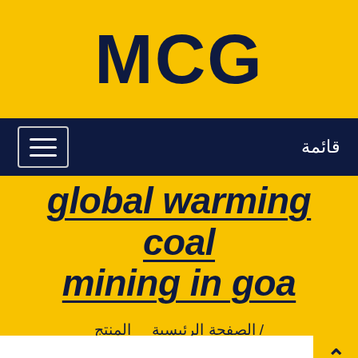MCG
قائمة
global warming coal mining in goa
/ الصفحة الرئيسية   المنتج